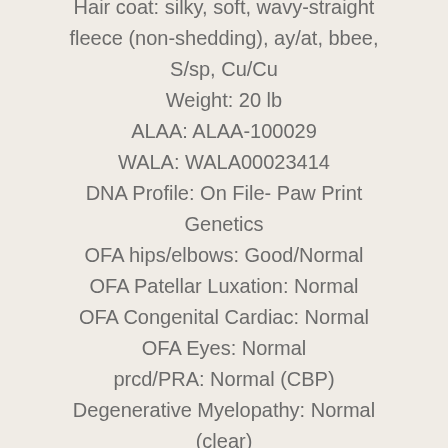Hair coat: silky, soft, wavy-straight fleece (non-shedding), ay/at, bbee, S/sp, Cu/Cu
Weight: 20 lb
ALAA: ALAA-100029
WALA: WALA00023414
DNA Profile: On File- Paw Print Genetics
OFA hips/elbows: Good/Normal
OFA Patellar Luxation: Normal
OFA Congenital Cardiac: Normal
OFA Eyes: Normal
prcd/PRA: Normal (CBP)
Degenerative Myelopathy: Normal (clear)